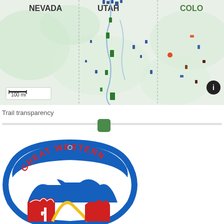[Figure (map): A western US map showing states Nevada, Utah, and Colorado with trails/routes overlaid in green, blue, and other colors. A scale bar reading '100 mi' is shown in the lower left of the map. An info button (circle with i) is in the lower right.]
Trail transparency
[Figure (other): A slider control for Trail transparency with a green thumb positioned about 20% from the left.]
[Figure (logo): Great Western Trail logo — an arrowhead-shaped badge with a blue border, white background, showing mountains, red rock formations, a yellow winding road/river, a cactus, and the text 'GREAT WESTERN' arcing around the top in red letters on a blue band.]